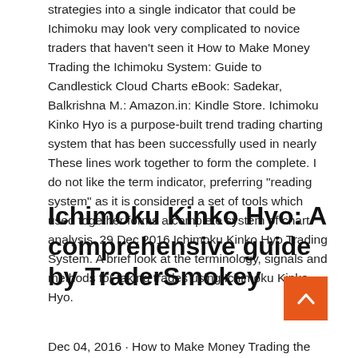strategies into a single indicator that could be Ichimoku may look very complicated to novice traders that haven't seen it How to Make Money Trading the Ichimoku System: Guide to Candlestick Cloud Charts eBook: Sadekar, Balkrishna M.: Amazon.in: Kindle Store. Ichimoku Kinko Hyo is a purpose-built trend trading charting system that has been successfully used in nearly These lines work together to form the complete. I do not like the term indicator, preferring "reading system" as it is considered a set of tools which used together forms a complete system of chart analysis. 29 Dec 2016 Ichimoku Kinko Hyo Trading System. A brief look at the terminology, signals and methods for taking trades using Ichimoku Kinko Hyo.
Ichimoku Kinko Hyo: A comprehensive guide by TraderSmokey
Dec 04, 2016 · How to Make Money Trading the Ichimoku